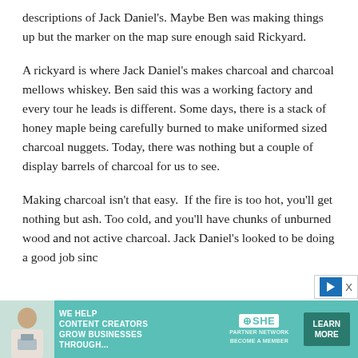descriptions of Jack Daniel's. Maybe Ben was making things up but the marker on the map sure enough said Rickyard.
A rickyard is where Jack Daniel's makes charcoal and charcoal mellows whiskey. Ben said this was a working factory and every tour he leads is different. Some days, there is a stack of honey maple being carefully burned to make uniformed sized charcoal nuggets. Today, there was nothing but a couple of display barrels of charcoal for us to see.
Making charcoal isn't that easy.  If the fire is too hot, you'll get nothing but ash. Too cold, and you'll have chunks of unburned wood and not active charcoal. Jack Daniel's looked to be doing a good job sinc
[Figure (infographic): SHE Media advertisement banner: 'We help content creators grow businesses through...' with SHE Partner Network logo and 'Learn More' button]